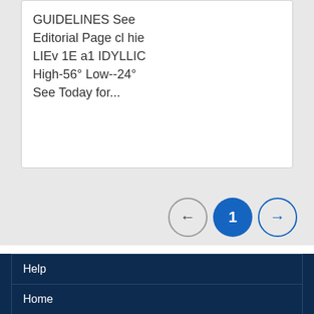GUIDELINES See Editorial Page cl hie LIEv 1E a1 IDYLLIC High-56° Low--24° See Today for...
[Figure (other): Pagination controls with left arrow button, active page 1 button (blue), and right arrow button]
Help
Home
© 2022 Regents of the University of